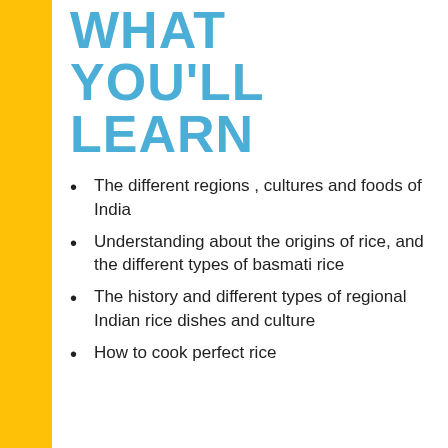WHAT YOU'LL LEARN
The different regions , cultures and foods of India
Understanding about the origins of rice, and the different types of basmati rice
The history and different types of regional Indian rice dishes and culture
How to cook perfect rice